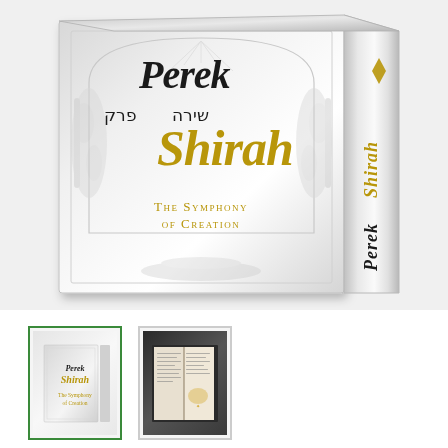[Figure (photo): A white hardcover book titled 'Perek Shirah: The Symphony of Creation' shown at an angle displaying both the front cover and spine. The front cover features embossed decorative arch motifs with nature/wheat designs in white relief, bold italic text for 'Perek' in dark and 'Shirah' in gold, Hebrew text 'פרק שירה', and the subtitle 'The Symphony of Creation' in gold small-caps. The spine shows 'Perek Shirah' in gold italic text and a publisher logo at the bottom.]
[Figure (photo): Thumbnail image of the same white Perek Shirah book cover, shown with a green border indicating it is selected.]
[Figure (photo): Thumbnail image of an open spread of the Perek Shirah book showing interior pages with text and possibly illustrations, with a dark/black cover visible.]